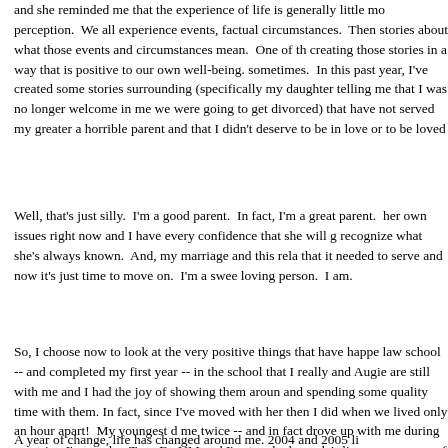and she reminded me that the experience of life is generally little mo perception. We all experience events, factual circumstances. Then stories about what those events and circumstances mean. One of th creating those stories in a way that is positive to our own well-being. sometimes. In this past year, I've created some stories surrounding (specifically my daughter telling me that I was no longer welcome in me we were going to get divorced) that have not served my greater a horrible parent and that I didn't deserve to be in love or to be loved
Well, that's just silly. I'm a good parent. In fact, I'm a great parent. her own issues right now and I have every confidence that she will g recognize what she's always known. And, my marriage and this rela that it needed to serve and now it's just time to move on. I'm a swe loving person. I am.
So, I choose now to look at the very positive things that have happe law school -- and completed my first year -- in the school that I really and Augie are still with me and I had the joy of showing them aroun and spending some quality time with them. In fact, since I've moved with her then I did when we lived only an hour apart! My youngest d me twice -- and in fact drove up with me during one trip. I've made r TransForUM and I've touched people's lives, even some of whom I'v
A year of change, life has changed around me. 2004 and 2005 li